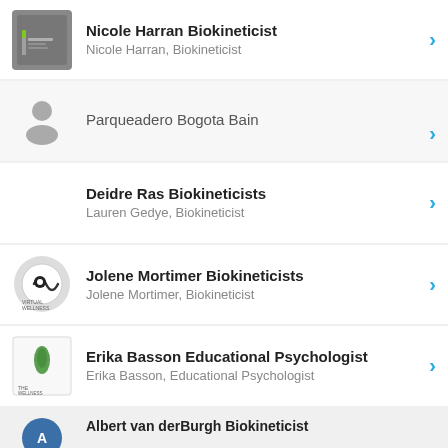Nicole Harran Biokineticist
Nicole Harran, Biokineticist
Parqueadero Bogota Bain
Deidre Ras Biokineticists
Lauren Gedye, Biokineticist
Jolene Mortimer Biokineticists
Jolene Mortimer, Biokineticist
Erika Basson Educational Psychologist
Erika Basson, Educational Psychologist
Albert van derBurgh Biokineticist